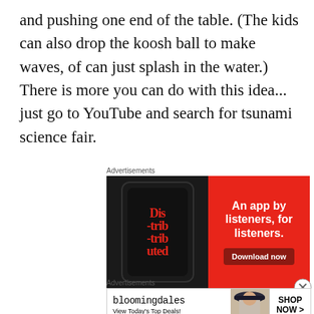and pushing one end of the table. (The kids can also drop the koosh ball to make waves, of can just splash in the water.) There is more you can do with this idea... just go to YouTube and search for tsunami science fair.
[Figure (photo): Advertisement banner: Red background with phone showing 'Distributed' app text, and text 'An app by listeners, for listeners.' with a 'Download now' button]
[Figure (photo): Advertisement banner: Bloomingdale's ad with logo, 'View Today's Top Deals!' text, a model wearing a hat, and 'SHOP NOW >' button]